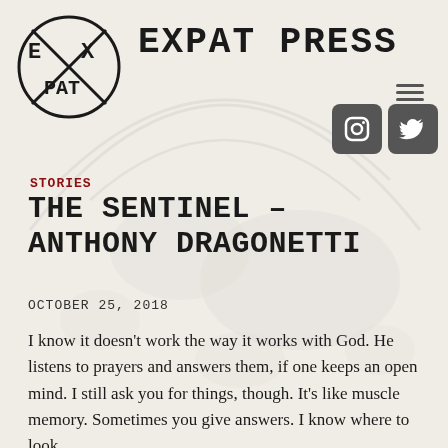[Figure (logo): Expat Press circular logo with E X / PAT text and crosshatch design]
EXPAT PRESS
STORIES
THE SENTINEL – ANTHONY DRAGONETTI
OCTOBER 25, 2018
I know it doesn't work the way it works with God. He listens to prayers and answers them, if one keeps an open mind. I still ask you for things, though. It's like muscle memory. Sometimes you give answers. I know where to look.